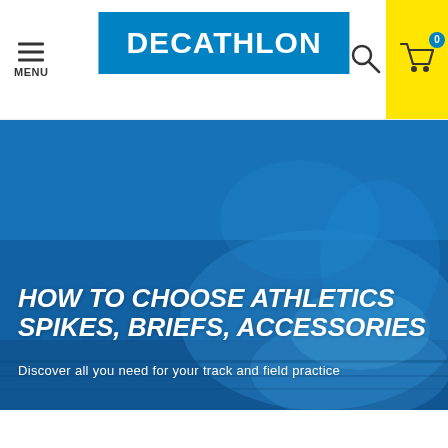MENU | DECATHLON | Search | Cart 0
[Figure (photo): Hero banner showing a person tying blue athletic spike shoes on a running track, with a blue color overlay. Contains large white italic bold text: HOW TO CHOOSE ATHLETICS SPIKES, BRIEFS, ACCESSORIES and subtitle: Discover all you need for your track and field practice]
HOW TO CHOOSE ATHLETICS SPIKES, BRIEFS, ACCESSORIES
Discover all you need for your track and field practice